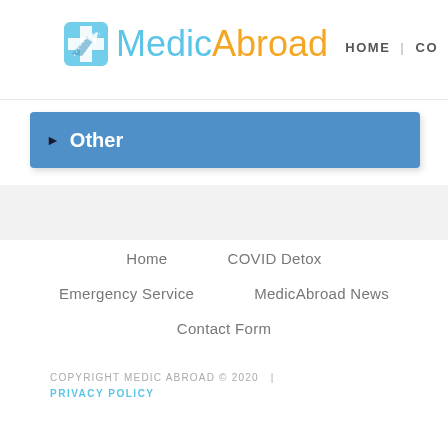MedicAbroad | HOME | CO
▶ Other
Home
COVID Detox
Emergency Service
MedicAbroad News
Contact Form
COPYRIGHT MEDIC ABROAD © 2020 | PRIVACY POLICY